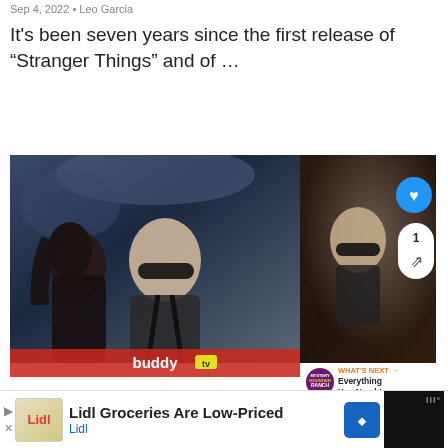Sep 4, 2022 • Leo Garcia
It's been seven years since the first release of "Stranger Things" and of …
[Figure (photo): Two stills side by side: left shows action movie scene with a bald man in sunglasses and tactical gear alongside a long-haired figure; right shows a bald man with sunglasses in a darker setting. Overlaid UI elements include a heart button, share count of 1, and a 'WHAT'S NEXT → Everything You Need to...' recommendation card. A red 'buddy tv' banner overlays the bottom of the left image.]
buddy tv
Lidl Groceries Are Low-Priced
Lidl